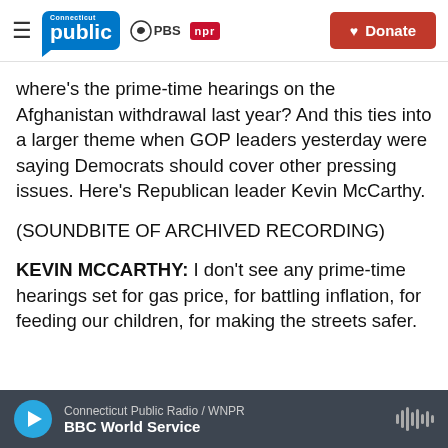Connecticut Public | PBS | NPR | Donate
where's the prime-time hearings on the Afghanistan withdrawal last year? And this ties into a larger theme when GOP leaders yesterday were saying Democrats should cover other pressing issues. Here's Republican leader Kevin McCarthy.
(SOUNDBITE OF ARCHIVED RECORDING)
KEVIN MCCARTHY: I don't see any prime-time hearings set for gas price, for battling inflation, for feeding our children, for making the streets safer.
Connecticut Public Radio / WNPR | BBC World Service